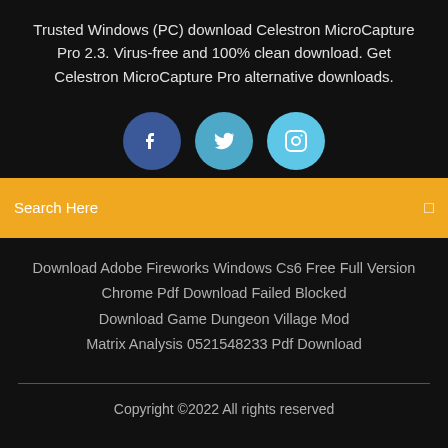Trusted Windows (PC) download Celestron MicroCapture Pro 2.3. Virus-free and 100% clean download. Get Celestron MicroCapture Pro alternative downloads.
[Figure (other): Three social media icons: Facebook (dark blue circle with 'f'), Twitter (medium blue circle with bird icon), Instagram (light blue circle with camera icon)]
Search Here
Download Adobe Fireworks Windows Cs6 Free Full Version
Chrome Pdf Download Failed Blocked
Download Game Dungeon Village Mod
Matrix Analysis 0521548233 Pdf Download
Copyright ©2022 All rights reserved